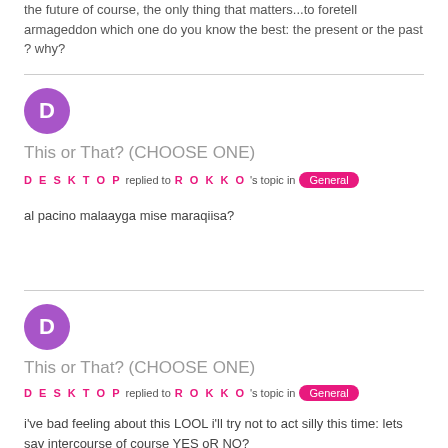the future of course, the only thing that matters...to foretell armageddon which one do you know the best: the present or the past ? why?
[Figure (other): Purple circular avatar with letter D]
This or That? (CHOOSE ONE)
DESKTOP replied to ROKKO 's topic in General
al pacino malaayga mise maraqiisa?
[Figure (other): Purple circular avatar with letter D]
This or That? (CHOOSE ONE)
DESKTOP replied to ROKKO 's topic in General
i've bad feeling about this LOOL i'll try not to act silly this time: lets say intercourse of course YES oR NO?